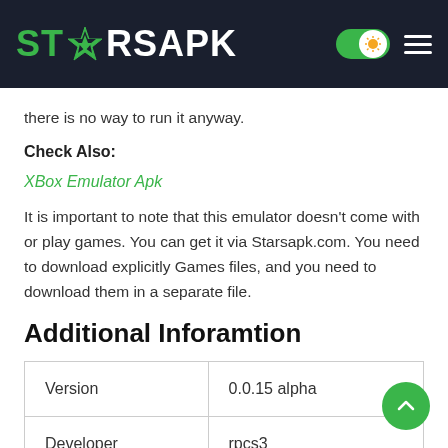STARSAPK
there is no way to run it anyway.
Check Also:
XBox Emulator Apk
It is important to note that this emulator doesn't come with or play games. You can get it via Starsapk.com. You need to download explicitly Games files, and you need to download them in a separate file.
Additional Inforamtion
| Version | 0.0.15 alpha |
| Developer | rpcs3 |